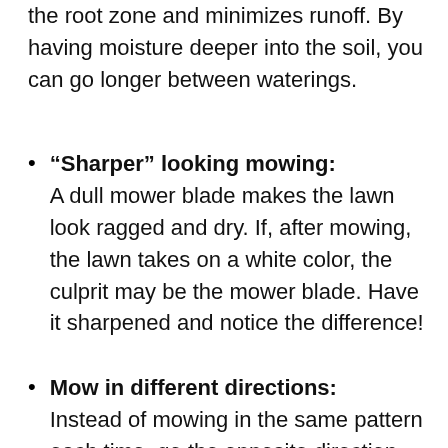the root zone and minimizes runoff. By having moisture deeper into the soil, you can go longer between waterings.
“Sharper” looking mowing: A dull mower blade makes the lawn look ragged and dry. If, after mowing, the lawn takes on a white color, the culprit may be the mower blade. Have it sharpened and notice the difference!
Mow in different directions: Instead of mowing in the same pattern each time, go the opposite direction